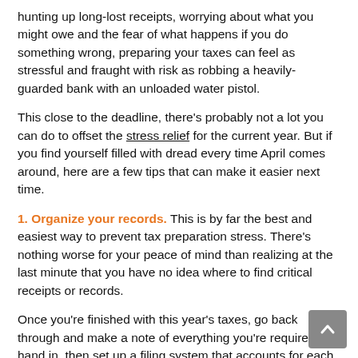hunting up long-lost receipts, worrying about what you might owe and the fear of what happens if you do something wrong, preparing your taxes can feel as stressful and fraught with risk as robbing a heavily-guarded bank with an unloaded water pistol.
This close to the deadline, there's probably not a lot you can do to offset the stress relief for the current year. But if you find yourself filled with dread every time April comes around, here are a few tips that can make it easier next time.
1. Organize your records. This is by far the best and easiest way to prevent tax preparation stress. There's nothing worse for your peace of mind than realizing at the last minute that you have no idea where to find critical receipts or records.
Once you're finished with this year's taxes, go back through and make a note of everything you're required to hand in, then set up a filing system that accounts for each category or item. (Note: It's not unusual to be